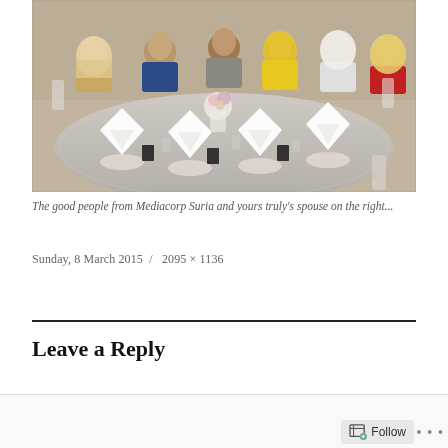[Figure (photo): Group photo of people seated around a formal banquet table set with white folded napkins, dishes, glasses, and a floral centerpiece. Several women wearing hijabs are visible, smiling at the camera.]
The good people from Mediacorp Suria and yours truly's spouse on the right...
Sunday, 8 March 2015  /  2095 × 1136
Leave a Reply